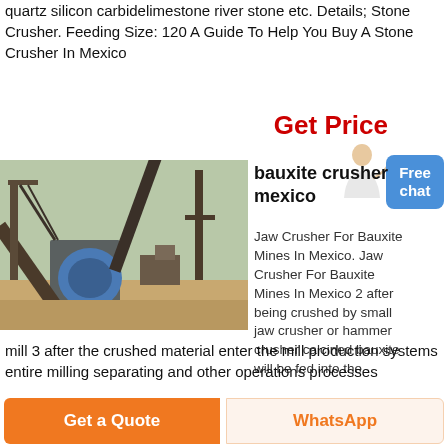quartz silicon carbidelimestone river stone etc. Details; Stone Crusher. Feeding Size: 120 A Guide To Help You Buy A Stone Crusher In Mexico
Get Price
[Figure (photo): Industrial stone crusher machinery at a mining or quarrying site, showing conveyor belts and heavy equipment]
bauxite crusher mexico
Jaw Crusher For Bauxite Mines In Mexico. Jaw Crusher For Bauxite Mines In Mexico 2 after being crushed by small jaw crusher or hammer crusher calcined bauxite will be fed into the mill 3 after the crushed material enter the mill production systems entire milling separating and other operations processes
Get a Quote
WhatsApp